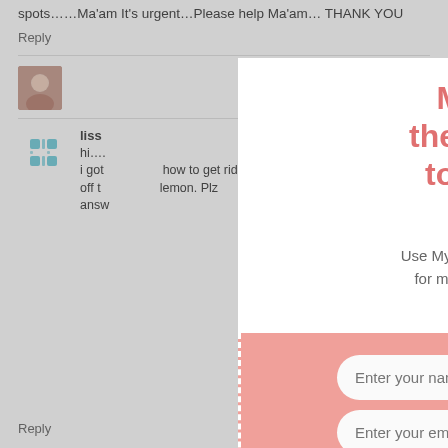spots……Ma'am It's urgent…Please help Ma'am… THANK YOU
Reply
[Figure (screenshot): Profile photo of a person]
liss
hi…. i got how to get rid off the lemon. Plz answ
to-lighten-
[Figure (infographic): MyPopUps popup modal overlay with title 'MyPopUps is the best solution to turn visitors into leads', description text, name/email input fields, Sign Up button, and promise text.]
Reply